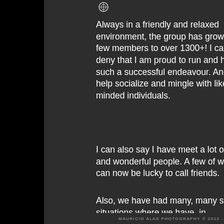[Figure (logo): Small circular logo/icon at the top of the content area]
Always in a friendly and relaxed environment, the group has grown for a few members to over 1300+! I cannot deny that I am proud to run and host such a successful endeavour. And to help socialize and mingle with like minded individuals.
I can also say I have meet a lot of kind and wonderful people. A few of who I can now be lucky to call friends.
Also, we have had many, many silly situations where we have, in
MAURICIO ALAS PHOTOGRAPHY © 2012 - 2022